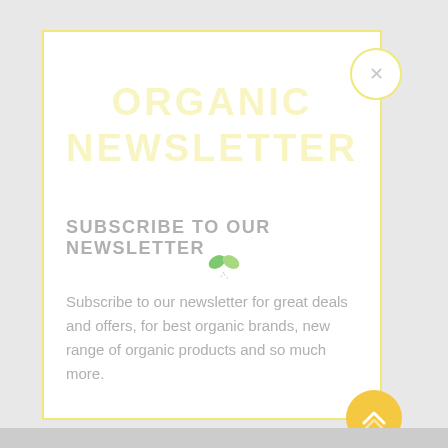ORGANIC NEWSLETTER
SUBSCRIBE TO OUR NEWSLETTER
[Figure (illustration): Small green leaf sprout icon]
Subscribe to our newsletter for great deals and offers, for best organic brands, new range of organic products and so much more.